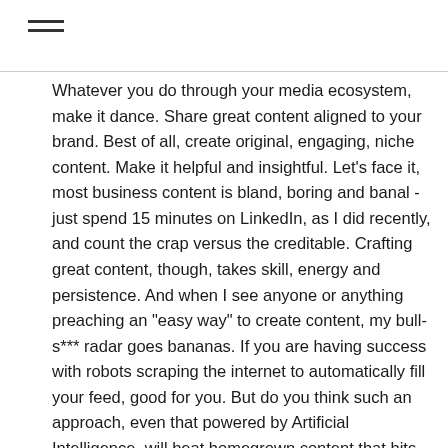Whatever you do through your media ecosystem, make it dance. Share great content aligned to your brand. Best of all, create original, engaging, niche content. Make it helpful and insightful. Let’s face it, most business content is bland, boring and banal - just spend 15 minutes on LinkedIn, as I did recently, and count the crap versus the creditable. Crafting great content, though, takes skill, energy and persistence. And when I see anyone or anything preaching an “easy way” to create content, my bull-s*** radar goes bananas. If you are having success with robots scraping the internet to automatically fill your feed, good for you. But do you think such an approach, even that powered by Artificial Intelligence, will beat homegrown content that hits the problem spot for an audience?